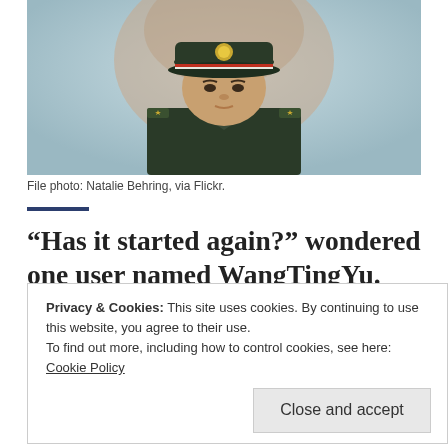[Figure (photo): A Chinese military officer in dark green uniform and cap with badge, standing in front of a large blurred portrait backdrop — likely at Tiananmen Square.]
File photo: Natalie Behring, via Flickr.
“Has it started again?” wondered one user named WangTingYu.
Privacy & Cookies: This site uses cookies. By continuing to use this website, you agree to their use.
To find out more, including how to control cookies, see here: Cookie Policy
Close and accept